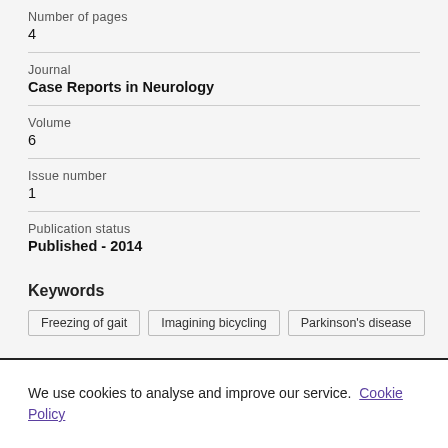Number of pages
4
Journal
Case Reports in Neurology
Volume
6
Issue number
1
Publication status
Published - 2014
Keywords
Freezing of gait
Imagining bicycling
Parkinson's disease
We use cookies to analyse and improve our service. Cookie Policy